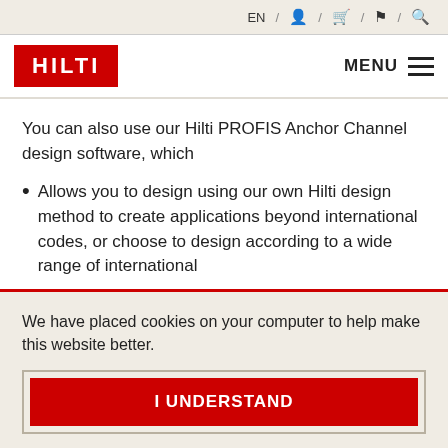EN / [user icon] / [cart icon] / [flag icon] / [search icon]
[Figure (logo): Hilti red logo with white HILTI text, and MENU button with hamburger lines]
You can also use our Hilti PROFIS Anchor Channel design software, which
Allows you to design using our own Hilti design method to create applications beyond international codes, or choose to design according to a wide range of international
We have placed cookies on your computer to help make this website better.
I UNDERSTAND